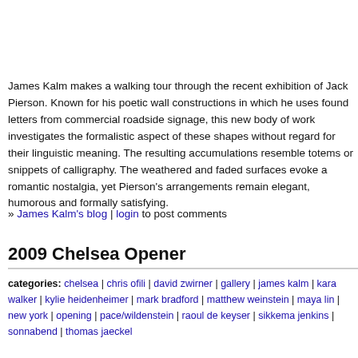James Kalm makes a walking tour through the recent exhibition of Jack Pierson. Known for his poetic wall constructions in which he uses found letters from commercial roadside signage, this new body of work investigates the formalistic aspect of these shapes without regard for their linguistic meaning. The resulting accumulations resemble totems or snippets of calligraphy. The weathered and faded surfaces evoke a romantic nostalgia, yet Pierson's arrangements remain elegant, humorous and formally satisfying.
» James Kalm's blog | login to post comments
2009 Chelsea Opener
categories: chelsea | chris ofili | david zwirner | gallery | james kalm | kara walker | kylie heidenheimer | mark bradford | matthew weinstein | maya lin | new york | opening | pace/wildenstein | raoul de keyser | sikkema jenkins | sonnabend | thomas jaeckel